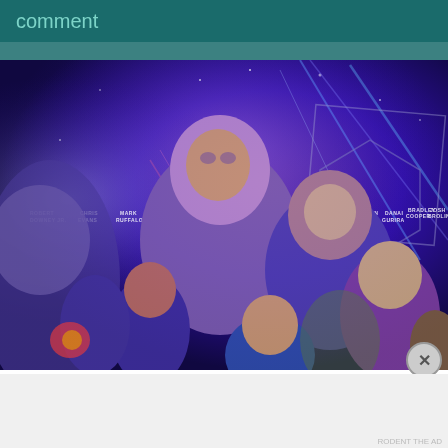comment
[Figure (photo): Avengers: Endgame movie poster featuring Robert Downey Jr., Chris Evans, Mark Ruffalo, Chris Hemsworth, Scarlett Johansson, Jeremy Renner, Don Cheadle, Paul Rudd, Brie Larson, Karen Gillan, Danai Gurira, Bradley Cooper, and Josh Brolin on a purple/blue cosmic background]
AUT⊙MATTIC
Build a better web and a better world.